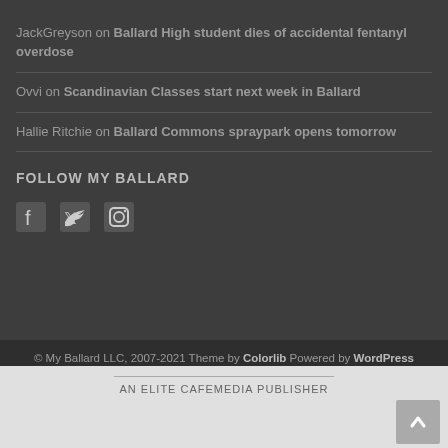JackGreyson on Ballard High student dies of accidental fentanyl overdose
Ovvi on Scandinavian Classes start next week in Ballard
Hallie Ritchie on Ballard Commons spraypark opens tomorrow
FOLLOW MY BALLARD
[Figure (other): Social media icons: Facebook, Twitter, Instagram]
© My Ballard LLC, 2007-2021 Theme by Colorlib Powered by WordPress
AN ELITE CAFEMEDIA PUBLISHER